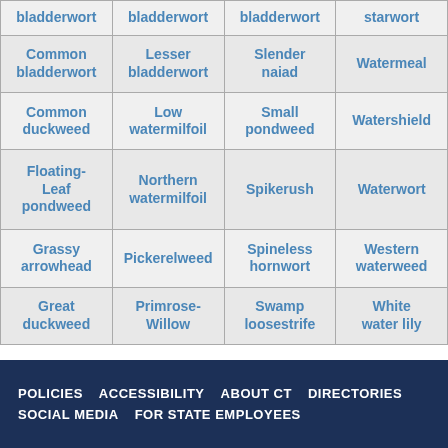| bladderwort | bladderwort | bladderwort | starwort |
| Common bladderwort | Lesser bladderwort | Slender naiad | Watermeal |
| Common duckweed | Low watermilfoil | Small pondweed | Watershield |
| Floating-Leaf pondweed | Northern watermilfoil | Spikerush | Waterwort |
| Grassy arrowhead | Pickerelweed | Spineless hornwort | Western waterweed |
| Great duckweed | Primrose-Willow | Swamp loosestrife | White water lily |
POLICIES   ACCESSIBILITY   ABOUT CT   DIRECTORIES   SOCIAL MEDIA   FOR STATE EMPLOYEES